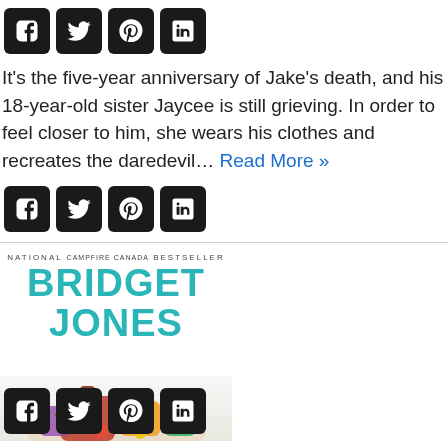[Figure (other): Social media share icons row (Facebook, Twitter, Pinterest, LinkedIn) — top bar]
It's the five-year anniversary of Jake's death, and his 18-year-old sister Jaycee is still grieving. In order to feel closer to him, she wears his clothes and recreates the daredevil… Read More »
[Figure (other): Social media share icons row (Facebook, Twitter, Pinterest, LinkedIn) — middle bar]
[Figure (other): Book cover image: NATIONAL BESTSELLER — BRIDGET JONES, with colorful bag illustration]
[Figure (other): Social media share icons row (Facebook, Twitter, Pinterest, LinkedIn) — bottom bar overlaid on book cover]